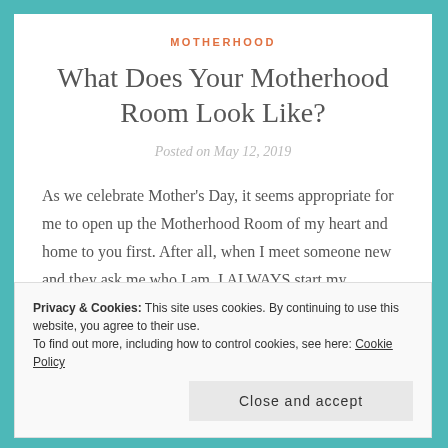MOTHERHOOD
What Does Your Motherhood Room Look Like?
Posted on May 12, 2019
As we celebrate Mother's Day, it seems appropriate for me to open up the Motherhood Room of my heart and home to you first. After all, when I meet someone new and they ask me who I am, I ALWAYS start my response
Privacy & Cookies: This site uses cookies. By continuing to use this website, you agree to their use.
To find out more, including how to control cookies, see here: Cookie Policy
Close and accept